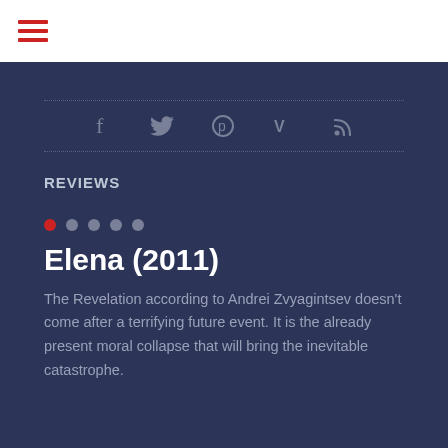☰ (hamburger menu)
[Figure (other): Social media icons: Facebook, Twitter, Pinterest, Vimeo, RSS feed]
REVIEWS
[Figure (other): Carousel navigation dots: 5 dots, first dot active (red), rest grey]
Elena (2011)
The Revelation according to Andrei Zvyagintsev doesn't come after a terrifying future event. It is the already present moral collapse that will bring the inevitable catastrophe.